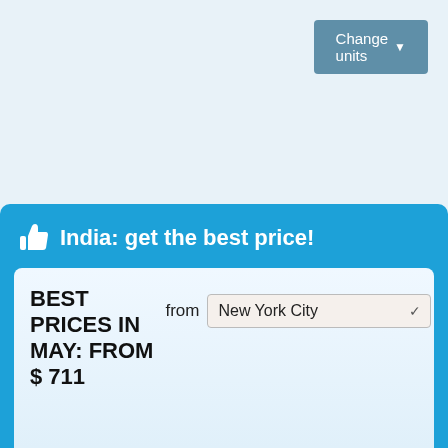[Figure (screenshot): Change units button with dropdown arrow, top right, steel blue background]
👍 India: get the best price!
BEST PRICES IN MAY: FROM $ 711
from New York City